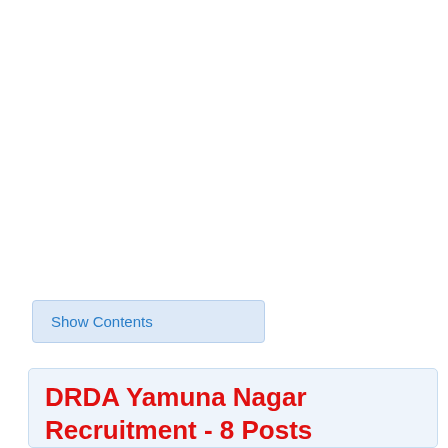Show Contents
DRDA Yamuna Nagar Recruitment - 8 Posts Vacancy